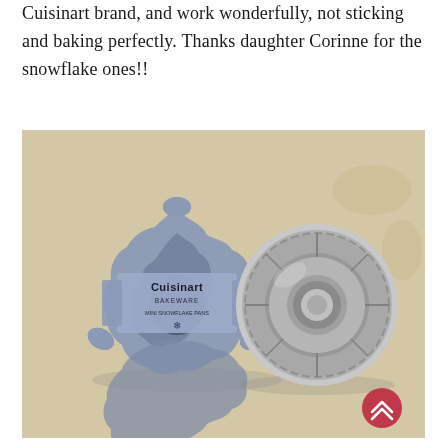Cuisinart brand, and work wonderfully, not sticking and baking perfectly. Thanks daughter Corinne for the snowflake ones!!
[Figure (photo): Two Cuisinart bakeware mini pans on a beige surface. On the left is a snowflake-shaped non-stick pan (blue-grey color) with a Cuisinart Bakeware Mini Snowflake Pans label/band around it. On the right is a round bundt-style mini pan in silver metal. A red circular button with double chevron (scroll-up) icon is visible in the bottom-right corner of the image.]